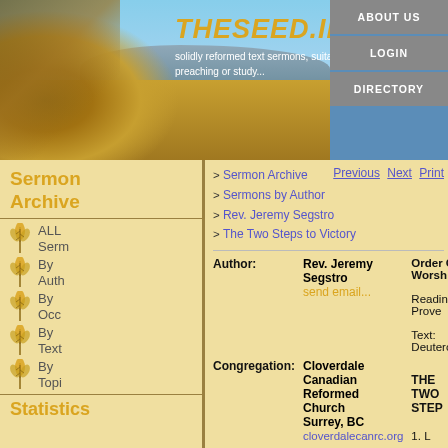THESEED.INFO — solidly reformed text sermons, suitable for preaching or study...
ABOUT US | LOGIN | DIRECTORY
Sermon Archive
> Sermon Archive  Previous  Next  Print
> Sermons by Author
> Rev. Jeremy Segstro
> The Two Steps to Victory
| Field | Value | Right Column |
| --- | --- | --- |
| Author: | Rev. Jeremy Segstro
send email... | Order Of Worship
Reading: Prove
Text: Deuteron |
| Congregation: | Cloverdale Canadian Reformed Church
Surrey, BC
cloverdalecanrc.org | THE TWO STEP
1. L

2. D |
| Title: | The Two Steps to Victory |  |
| Text: | Deuteronomy 4:1-14 (View) |  |
| Occasion: | Regular Sunday |  |
Statistics